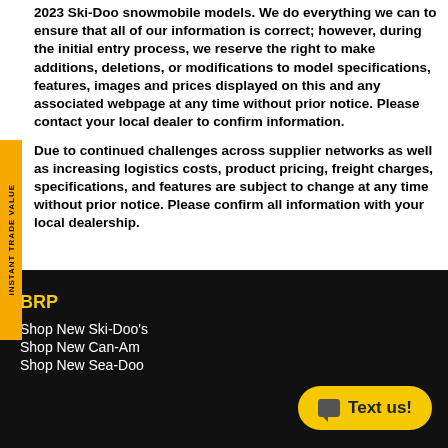2023 Ski-Doo snowmobile models. We do everything we can to ensure that all of our information is correct; however, during the initial entry process, we reserve the right to make additions, deletions, or modifications to model specifications, features, images and prices displayed on this and any associated webpage at any time without prior notice. Please contact your local dealer to confirm information.
Due to continued challenges across supplier networks as well as increasing logistics costs, product pricing, freight charges, specifications, and features are subject to change at any time without prior notice. Please confirm all information with your local dealership.
BRP
Shop New Ski-Doo's
Shop New Can-Am
Shop New Sea-Doo